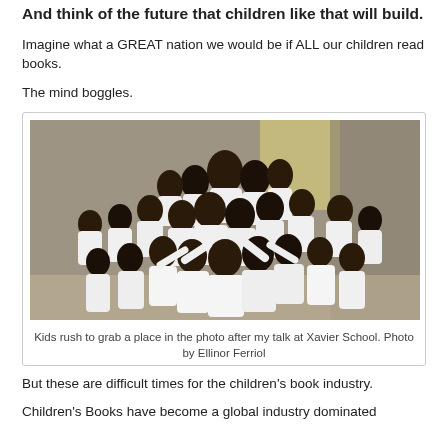And think of the future that children like that will build.
Imagine what a GREAT nation we would be if ALL our children read books.
The mind boggles.
[Figure (photo): A crowd of boys in white school uniforms rushing and jostling to get into a group photo. Two people stand at the back center, one laughing. The setting appears to be an indoor hall with curtains and a yellow wall in the background.]
Kids rush to grab a place in the photo after my talk at Xavier School. Photo by Ellinor Ferriol
But these are difficult times for the children's book industry.
Children's Books have become a global industry dominated